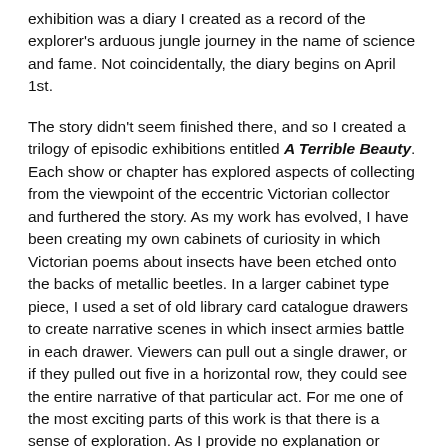exhibition was a diary I created as a record of the explorer's arduous jungle journey in the name of science and fame. Not coincidentally, the diary begins on April 1st.
The story didn't seem finished there, and so I created a trilogy of episodic exhibitions entitled A Terrible Beauty. Each show or chapter has explored aspects of collecting from the viewpoint of the eccentric Victorian collector and furthered the story. As my work has evolved, I have been creating my own cabinets of curiosity in which Victorian poems about insects have been etched onto the backs of metallic beetles. In a larger cabinet type piece, I used a set of old library card catalogue drawers to create narrative scenes in which insect armies battle in each drawer. Viewers can pull out a single drawer, or if they pulled out five in a horizontal row, they could see the entire narrative of that particular act. For me one of the most exciting parts of this work is that there is a sense of exploration. As I provide no explanation or guidance to the viewer those who spend the longest with the work discover that pulling out multiple drawers at once creates the complete narrative.